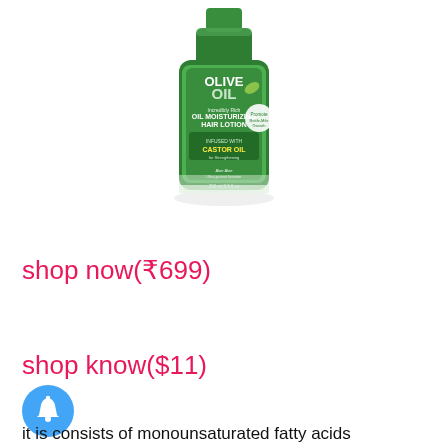[Figure (photo): Olive Oil Incredibly Rich Oil Moisturizing Hair Lotion bottle with green label, infused with Castor Oil for strengthening, 250ml / 8.5 fl oz]
shop now(₹699)
shop know($11)
[Figure (illustration): Blue circular bell/notification icon]
it is consists of monounsaturated fatty acids